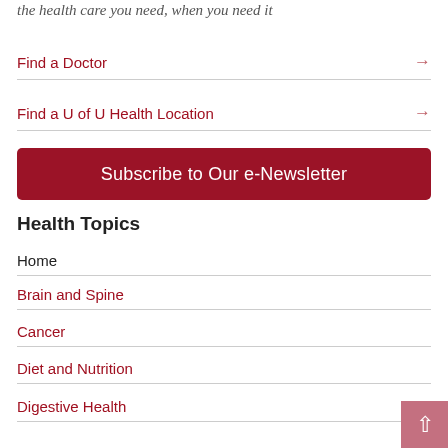the health care you need, when you need it
Find a Doctor →
Find a U of U Health Location →
[Figure (other): Dark red button: Subscribe to Our e-Newsletter]
Health Topics
Home
Brain and Spine
Cancer
Diet and Nutrition
Digestive Health